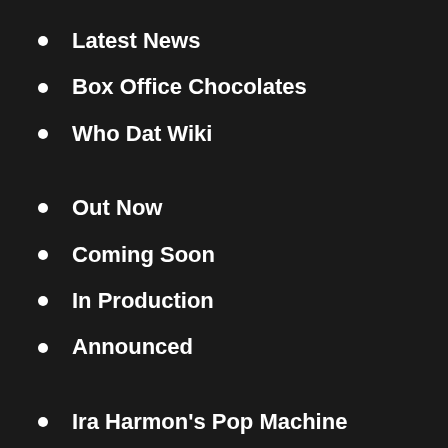Latest News
Box Office Chocolates
Who Dat Wiki
Out Now
Coming Soon
In Production
Announced
Ira Harmon's Pop Machine
Reel Black